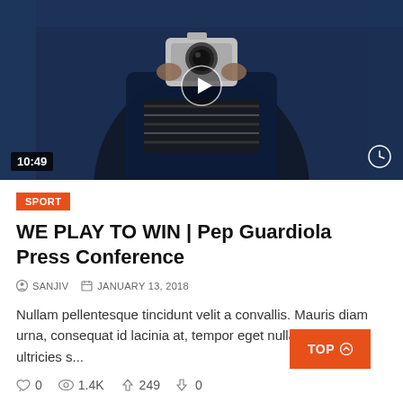[Figure (photo): Video thumbnail showing a person holding a camera, dark blue tones, with a play button overlay. Duration badge shows 10:49 at bottom left, clock icon at bottom right.]
SPORT
WE PLAY TO WIN | Pep Guardiola Press Conference
SANJIV   JANUARY 13, 2018
Nullam pellentesque tincidunt velit a convallis. Mauris diam urna, consequat id lacinia at, tempor eget nulla. Etiam vel ultricies s...
0   1.4K   249   0